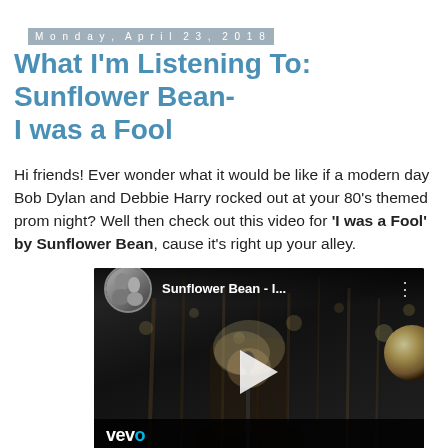Monday, April 23, 2018
What I'm Listening To: Sunflower Bean- I was a Fool
Hi friends! Ever wonder what it would be like if a modern day Bob Dylan and Debbie Harry rocked out at your 80's themed prom night? Well then check out this video for 'I was a Fool' by Sunflower Bean, cause it's right up your alley.
[Figure (screenshot): YouTube/Vevo embedded video player thumbnail showing Sunflower Bean - I... music video with play button overlay and vevo logo at bottom left.]